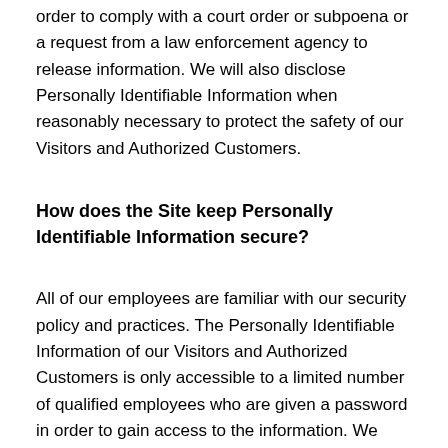order to comply with a court order or subpoena or a request from a law enforcement agency to release information. We will also disclose Personally Identifiable Information when reasonably necessary to protect the safety of our Visitors and Authorized Customers.
How does the Site keep Personally Identifiable Information secure?
All of our employees are familiar with our security policy and practices. The Personally Identifiable Information of our Visitors and Authorized Customers is only accessible to a limited number of qualified employees who are given a password in order to gain access to the information. We audit our security systems and processes on a regular basis. Sensitive information, such as credit card numbers or social security numbers, is protected by encryption protocols, in place to protect information sent over the Internet. While we